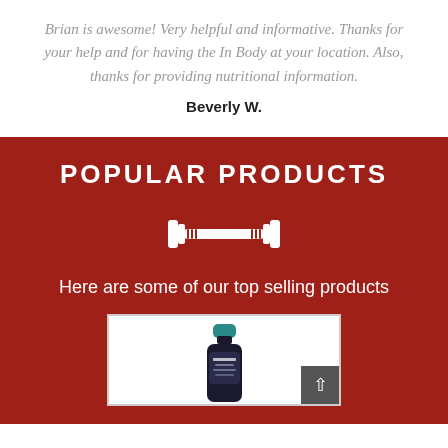Brian is awesome! Very helpful and informative. Thanks for your help and for having the In Body at your location. Also, thanks for providing nutritional information.
Beverly W.
POPULAR PRODUCTS
[Figure (illustration): White dumbbell / barbell icon on dark red background]
Here are some of our top selling products
[Figure (photo): Product bottle with teal cap on white background inside a bordered container]